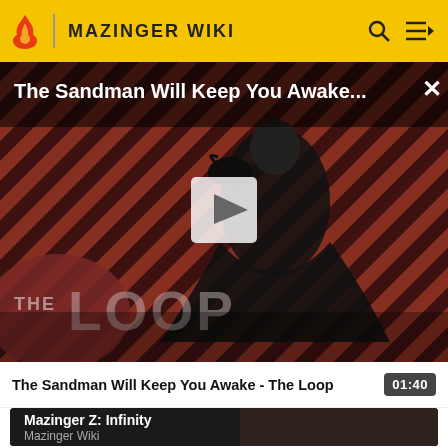MAZINGER WIKI
[Figure (screenshot): Video player thumbnail showing a dark-robed figure against a red and black diagonal striped background with 'THE LOOP' text overlay and a play button. Title reads 'The Sandman Will Keep You Awake...' with a close X button.]
The Sandman Will Keep You Awake - The Loop  01:40
Mazinger Z: Infinity
Mazinger Wiki